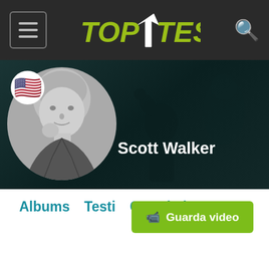TOP TESTI
[Figure (photo): Artist profile banner for Scott Walker showing a grayscale photo of a young man with silhouettes in the background on a dark teal background. A US flag circle is shown in the top-left of the banner.]
Scott Walker
Albums   Testi   Correlati
🎬 Guarda video